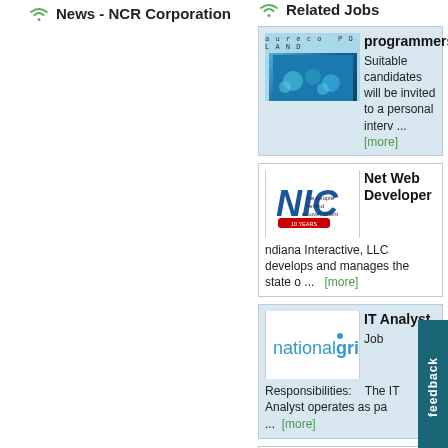News - NCR Corporation
Related Jobs
programmers
Suitable candidates will be invited to a personal interv ... [more]
Net Web Developer
ndiana Interactive, LLC develops and manages the state o ... [more]
IT Analyst
Job
Responsibilities: The IT Analyst operates as pa ... [more]
SOFTWARE DEVELOPER
MINIMUM QUALIFICATIONS:1.